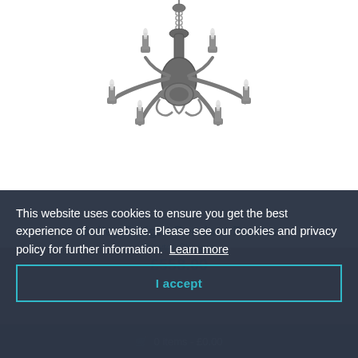[Figure (photo): A pewter/dark chrome 6-light chandelier pendant light fixture with candle-style bulb holders, ornate metalwork body, and chain suspension, photographed on white background.]
Bailey 6 Light Pendant Pewter
Pewter Chrome
£558.00
This website uses cookies to ensure you get the best experience of our website. Please see our cookies and privacy policy for further information. Learn more
I accept
0 items - £0.00